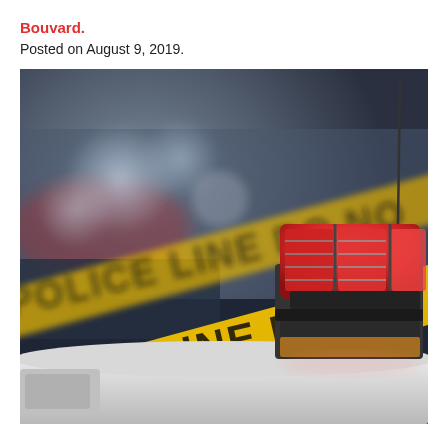Bouvard.
Posted on August 9, 2019.
[Figure (photo): Close-up photograph of a red police siren/light bar on top of a police car, with yellow crime scene tape reading 'POLICE LINE DO NOT' in the background. The image has a shallow depth of field with a blurred dark background featuring bokeh lights.]